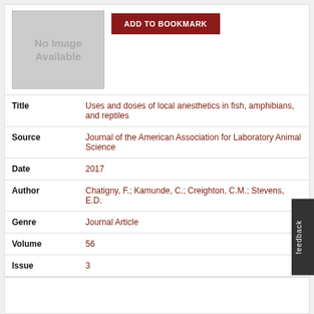[Figure (other): No Image Available placeholder graphic]
| Field | Value |
| --- | --- |
| Title | Uses and doses of local anesthetics in fish, amphibians, and reptiles |
| Source | Journal of the American Association for Laboratory Animal Science |
| Date | 2017 |
| Author | Chatigny, F.; Kamunde, C.; Creighton, C.M.; Stevens, E.D. |
| Genre | Journal Article |
| Volume | 56 |
| Issue | 3 |
| Start Page | 244 |